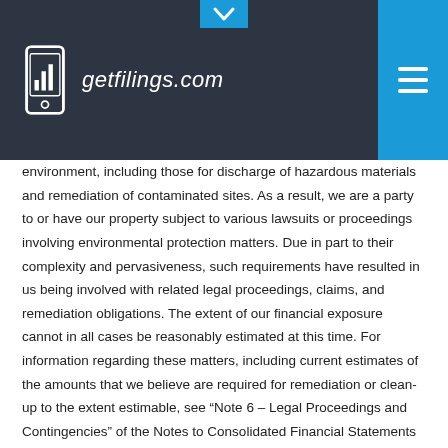getfilings.com
environment, including those for discharge of hazardous materials and remediation of contaminated sites. As a result, we are a party to or have our property subject to various lawsuits or proceedings involving environmental protection matters. Due in part to their complexity and pervasiveness, such requirements have resulted in us being involved with related legal proceedings, claims, and remediation obligations. The extent of our financial exposure cannot in all cases be reasonably estimated at this time. For information regarding these matters, including current estimates of the amounts that we believe are required for remediation or clean-up to the extent estimable, see “Note 6 – Legal Proceedings and Contingencies” of the Notes to Consolidated Financial Statements (unaudited) in this Form 10-Q. See also “Critical Accounting Policies – Environmental Matters” in Management’s Discussion and Analysis of Financial Condition and Results of Operations, and “Note 12